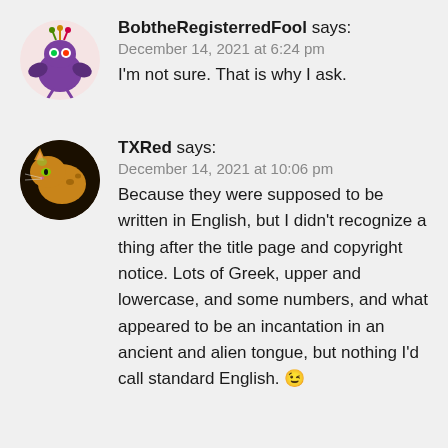BobtheRegisterredFool says:
December 14, 2021 at 6:24 pm
I'm not sure. That is why I ask.
TXRed says:
December 14, 2021 at 10:06 pm
Because they were supposed to be written in English, but I didn't recognize a thing after the title page and copyright notice. Lots of Greek, upper and lowercase, and some numbers, and what appeared to be an incantation in an ancient and alien tongue, but nothing I'd call standard English. 😉